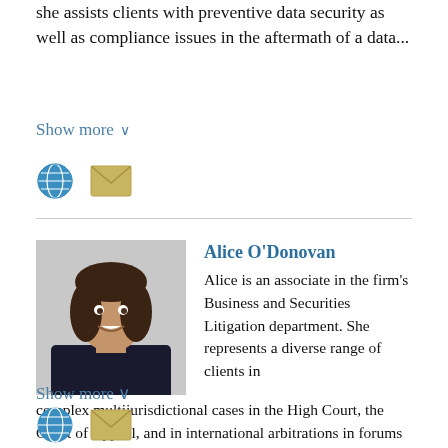she assists clients with preventive data security as well as compliance issues in the aftermath of a data...
Show more ∨
[Figure (illustration): Globe icon and envelope/email icon]
Alice O'Donovan
[Figure (photo): Headshot photo of Alice O'Donovan, a woman with long dark hair, smiling, wearing a dark blazer]
Alice is an associate in the firm's Business and Securities Litigation department. She represents a diverse range of clients in complex multijurisdictional cases in the High Court, the Court of Appeal, and in international arbitrations in forums such as the London Court of...
Show more ∨
[Figure (illustration): Globe icon and envelope/email icon (partially visible)]